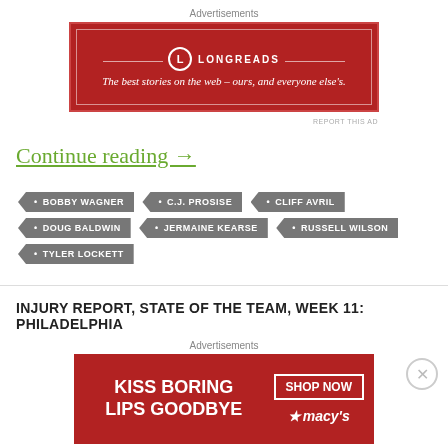[Figure (other): Longreads advertisement banner: red background with logo and tagline 'The best stories on the web — ours, and everyone else's.']
REPORT THIS AD
Continue reading →
BOBBY WAGNER
C.J. PROSISE
CLIFF AVRIL
DOUG BALDWIN
JERMAINE KEARSE
RUSSELL WILSON
TYLER LOCKETT
INJURY REPORT, STATE OF THE TEAM, WEEK 11: PHILADELPHIA
[Figure (other): Macy's advertisement banner: 'KISS BORING LIPS GOODBYE' with SHOP NOW button and Macy's logo on red background with woman's face.]